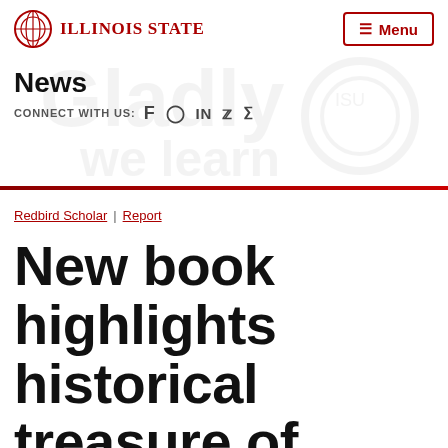Illinois State | Menu
News
CONNECT WITH US: f in
Redbird Scholar | Report
New book highlights historical treasure of university